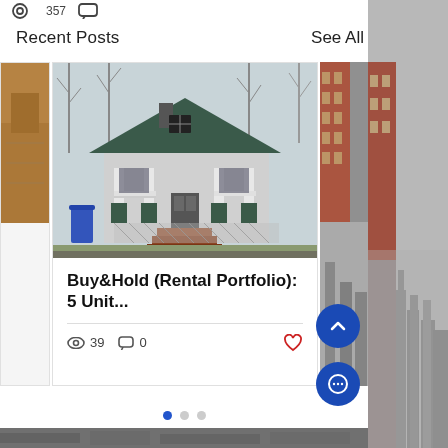357 views  comments  1 like
Recent Posts
See All
[Figure (photo): Photograph of a small bungalow-style house with white columns, green trim, front porch with railings, and brick steps. Bare trees visible in background. Blue trash bin on left side.]
Buy&Hold (Rental Portfolio): 5 Unit...
39 views  0 comments  heart
[Figure (photo): Partial view of a red brick multi-story building on the right edge and a grayscale city skyline photo on the far right column.]